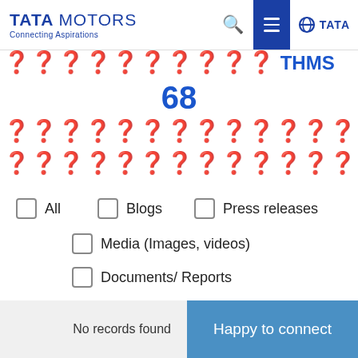[Figure (screenshot): Tata Motors website header with logo, search icon, menu icon, and Tata group logo]
❓❓❓❓❓❓❓❓❓❓❓THMS
68
❓❓❓❓❓❓❓❓❓❓❓❓❓
❓❓❓❓❓❓❓❓❓❓❓❓❓
All
Blogs
Press releases
Media (Images, videos)
Documents/ Reports
No records found
Happy to connect